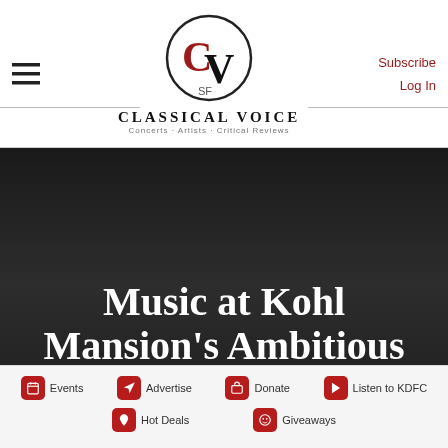[Figure (logo): Classical Voice SF logo: circle with CV letters in red and black, SF text inside, with CLASSICAL VOICE title and subtitle Concerts - Artists - Critical Reviews]
Music at Kohl Mansion's Ambitious
Events
Advertise
Donate
Listen to KDFC
Hot Deals
Giveaways